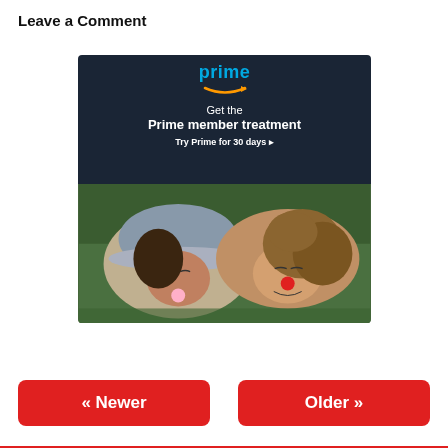Leave a Comment
[Figure (illustration): Amazon Prime advertisement banner showing 'prime' logo with arrow, text 'Get the Prime member treatment' and 'Try Prime for 30 days ▸', with photo of two people lying in grass blowing bubble gum]
« Newer
Older »